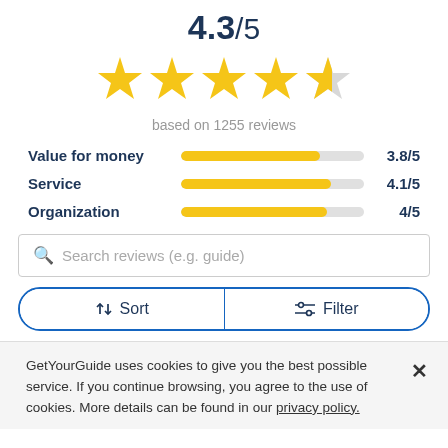4.3/5
[Figure (infographic): Five stars rating display: 4 full yellow stars and 1 half/empty grey star]
based on 1255 reviews
[Figure (bar-chart): Subcategory ratings]
Search reviews (e.g. guide)
Sort   Filter
GetYourGuide uses cookies to give you the best possible service. If you continue browsing, you agree to the use of cookies. More details can be found in our privacy policy.